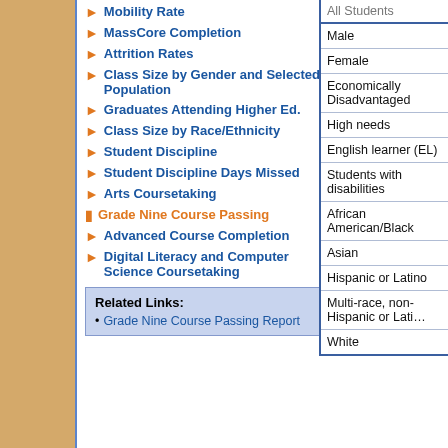Mobility Rate
MassCore Completion
Attrition Rates
Class Size by Gender and Selected Population
Graduates Attending Higher Ed.
Class Size by Race/Ethnicity
Student Discipline
Student Discipline Days Missed
Arts Coursetaking
Grade Nine Course Passing
Advanced Course Completion
Digital Literacy and Computer Science Coursetaking
Related Links:
• Grade Nine Course Passing Report
| Student Group |
| --- |
| All Students |
| Male |
| Female |
| Economically Disadvantaged |
| High needs |
| English learner (EL) |
| Students with disabilities |
| African American/Black |
| Asian |
| Hispanic or Latino |
| Multi-race, non-Hispanic or Latino |
| White |